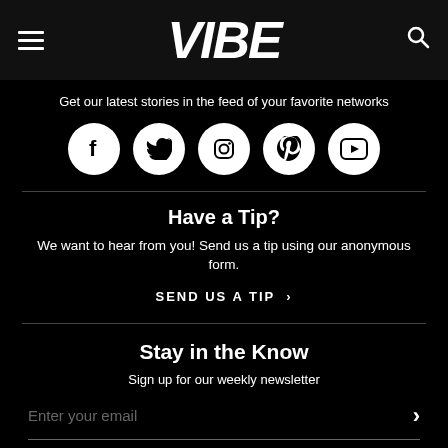VIBE
Get our latest stories in the feed of your favorite networks
[Figure (illustration): Five social media icons in white circles: Facebook, Twitter, Instagram, Pinterest, YouTube]
Have a Tip?
We want to hear from you! Send us a tip using our anonymous form.
SEND US A TIP >
Stay in the Know
Sign up for our weekly newsletter
Enter your email